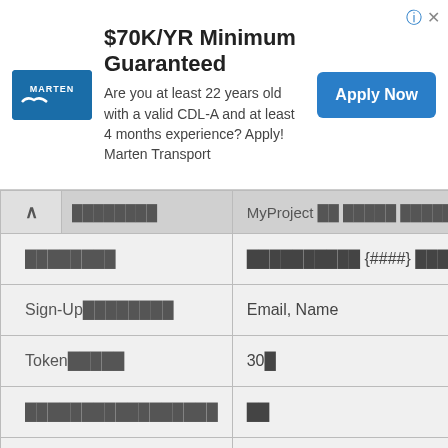[Figure (screenshot): Advertisement banner for Marten Transport: '$70K/YR Minimum Guaranteed' with 'Are you at least 22 years old with a valid CDL-A and at least 4 months experience? Apply! Marten Transport' and 'Apply Now' button.]
| ▲  ████████ | MyProject ██ █████ ███████ |
| --- | --- |
| ████████ | ████████████ {####} ███ |
| Sign-Up████████ | Email, Name |
| Token█████ | 30█ |
| █████████████████ | ██ |
| ██████ | ████████████Email██████████ |
| OAuth███ | ██ |
| Lambda Triggers | Pre Sign-up |
| █████████████████ | surbiton.jp |